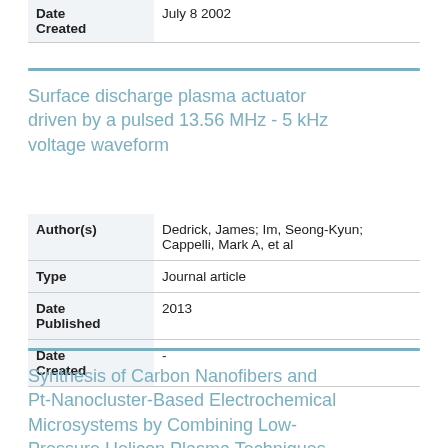| Field | Value |
| --- | --- |
| Date Created | July 8 2002 |
Surface discharge plasma actuator driven by a pulsed 13.56 MHz - 5 kHz voltage waveform
| Field | Value |
| --- | --- |
| Author(s) | Dedrick, James; Im, Seong-Kyun; Cappelli, Mark A, et al |
| Type | Journal article |
| Date Published | 2013 |
| Date Created | - |
Synthesis of Carbon Nanofibers and Pt-Nanocluster-Based Electrochemical Microsystems by Combining Low-Pressure Helicon Plasma Techniques